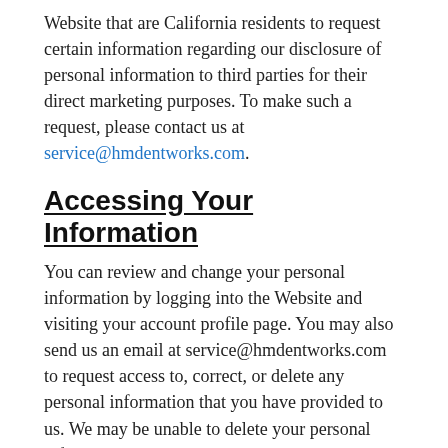Website that are California residents to request certain information regarding our disclosure of personal information to third parties for their direct marketing purposes. To make such a request, please contact us at service@hmdentworks.com.
Accessing Your Information
You can review and change your personal information by logging into the Website and visiting your account profile page. You may also send us an email at service@hmdentworks.com to request access to, correct, or delete any personal information that you have provided to us. We may be unable to delete your personal information except by also deleting your user account. We may not accommodate a request to change information if we believe the change would violate any law or legal requirement or cause the information to be incorrect.